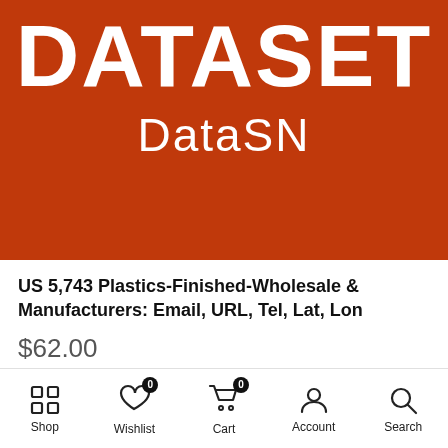[Figure (logo): Red banner with white bold uppercase text 'DATASET' at top and 'DataSN' in lighter weight below, on an orange-red background.]
US 5,743 Plastics-Finished-Wholesale & Manufacturers: Email, URL, Tel, Lat, Lon
$62.00
Shop  Wishlist  Cart  Account  Search